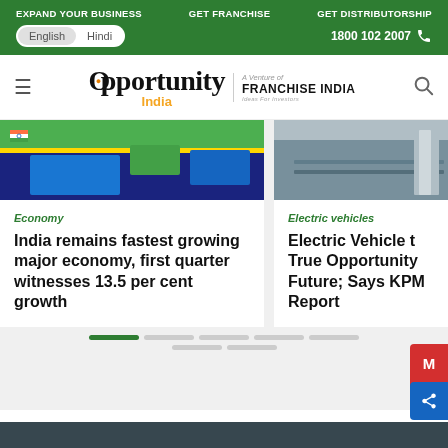EXPAND YOUR BUSINESS  GET FRANCHISE  GET DISTRIBUTORSHIP
English / Hindi  1800 102 2007
[Figure (logo): Opportunity India logo — A Venture of Franchise India]
[Figure (photo): Article image for Economy card showing colorful floor with Indian flag motif]
Economy
India remains fastest growing major economy, first quarter witnesses 13.5 per cent growth
[Figure (photo): Article image for Electric vehicles card showing grey architectural/road scene]
Electric vehicles
Electric Vehicle t True Opportunity Future; Says KPM Report